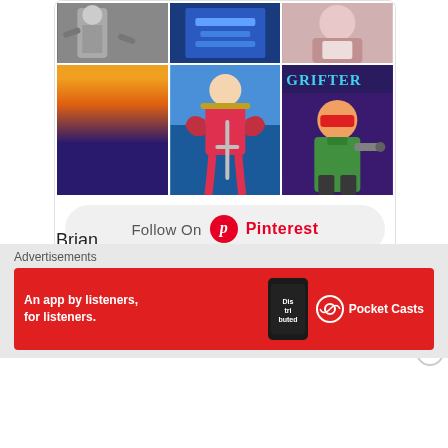[Figure (screenshot): Pinterest image grid showing comic book covers including Wizard magazine and Grifter, with a Follow On Pinterest button]
Brian
★ Like
Log in to Reply
Advertisements
[Figure (photo): Pocket Casts advertisement banner: 'An app by listeners, for listeners.' on red background with phone showing 'Distributed' app]